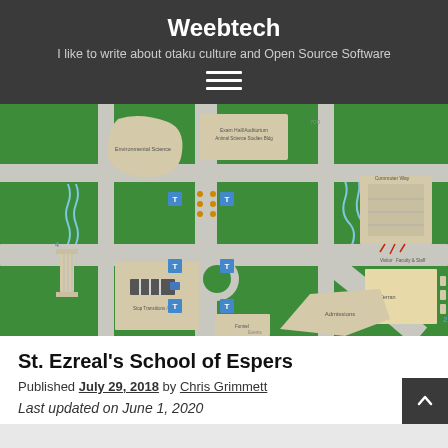Weebtech
I like to write about otaku culture and Open Source Software
[Figure (map): Campus map of St. Ezreal's School of Espers showing buildings, pathways, and labeled locations on a green background]
St. Ezreal's School of Espers
Published July 29, 2018 by Chris Grimmett
Last updated on June 1, 2020